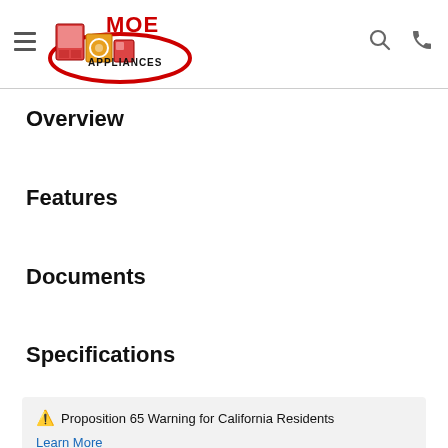MOE APPLIANCES
Overview
Features
Documents
Specifications
⚠ Proposition 65 Warning for California Residents
Learn More